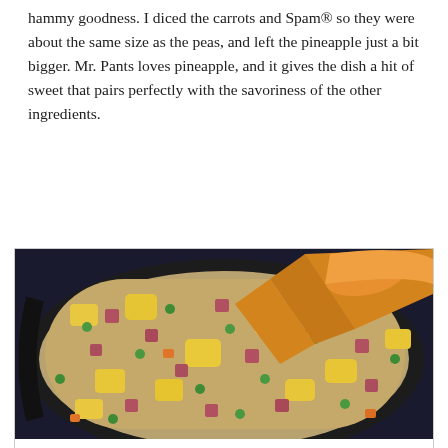hammy goodness. I diced the carrots and Spam® so they were about the same size as the peas, and left the pineapple just a bit bigger. Mr. Pants loves pineapple, and it gives the dish a hit of sweet that pairs perfectly with the savoriness of the other ingredients.
[Figure (photo): A skillet with fried rice containing diced Spam, pineapple chunks, peas, and carrots, with a wooden/orange spatula resting in the pan.]
Privacy & Cookies: This site uses cookies. By continuing to use this website, you agree to their use.
To find out more, including how to control cookies, see here: Cookie Policy
Close and accept